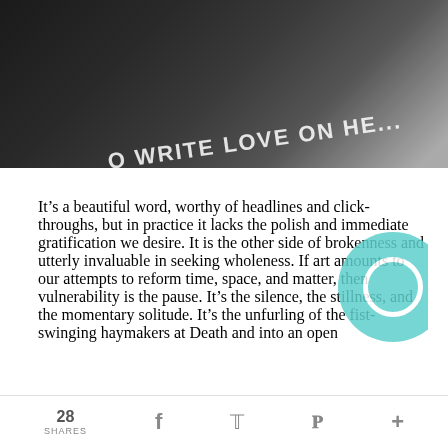[Figure (photo): A dark photograph showing text that reads 'TO WRITE LOVE ON HER...' with partial text visible, on a dark background]
It’s a beautiful word, worthy of headlines and click-throughs, but in practice it lacks the polish and immediate gratification we desire. It is the other side of brokenness and utterly invaluable in seeking wholeness. If art amounts to our attempts to reform time, space, and matter, then vulnerability is the pause. It’s the silence, the stillness, and the momentary solitude. It’s the unfurling of the fist-swinging haymakers at Death and into an open
28 SHARES